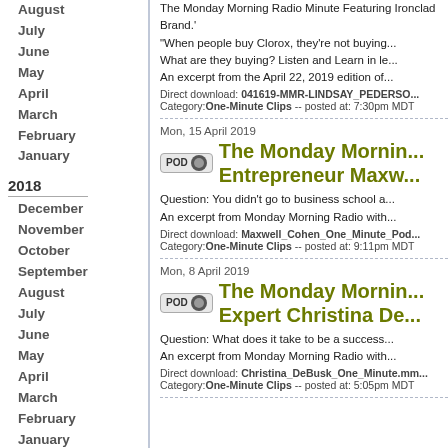August
July
June
May
April
March
February
January
2018
December
November
October
September
August
July
June
May
April
March
February
January
2017
December
November
October
September
August
July
June
May
April
The Monday Morning Radio Minute Featuring Ironclad Brand.'
"When people buy Clorox, they're not buying...
What are they buying? Listen and Learn in le...
An excerpt from the April 22, 2019 edition of...
Direct download: 041619-MMR-LINDSAY_PEDERSO... Category: One-Minute Clips -- posted at: 7:30pm MDT
Mon, 15 April 2019
The Monday Morning... Entrepreneur Maxw...
Question: You didn't go to business school a...
An excerpt from Monday Morning Radio with...
Direct download: Maxwell_Cohen_One_Minute_Pod... Category: One-Minute Clips -- posted at: 9:11pm MDT
Mon, 8 April 2019
The Monday Morning... Expert Christina De...
Question: What does it take to be a success...
An excerpt from Monday Morning Radio with...
Direct download: Christina_DeBusk_One_Minute.mm... Category: One-Minute Clips -- posted at: 5:05pm MDT